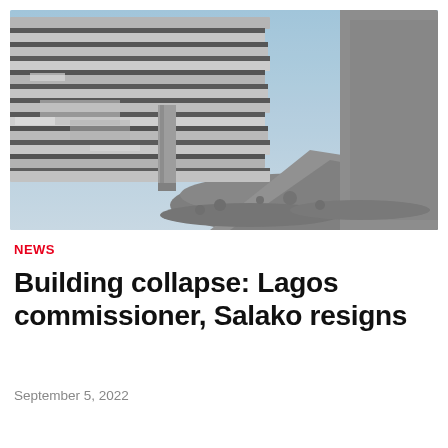[Figure (photo): Collapsed building rubble showing layers of concrete slabs stacked and crumbled, with debris and dust visible against a light blue sky in the background.]
NEWS
Building collapse: Lagos commissioner, Salako resigns
September 5, 2022